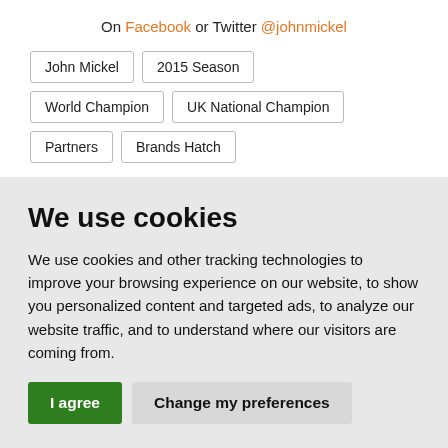On Facebook or Twitter @johnmickel
John Mickel
2015 Season
World Champion
UK National Champion
Partners
Brands Hatch
We use cookies
We use cookies and other tracking technologies to improve your browsing experience on our website, to show you personalized content and targeted ads, to analyze our website traffic, and to understand where our visitors are coming from.
I agree   Change my preferences